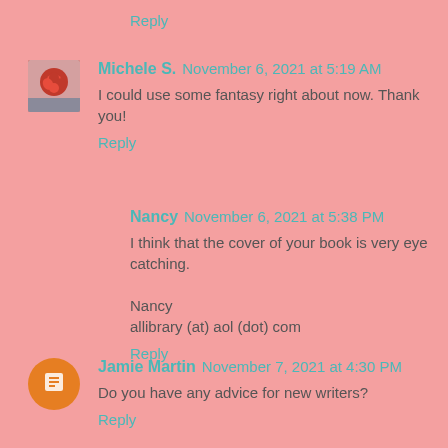Reply
Michele S.  November 6, 2021 at 5:19 AM
I could use some fantasy right about now. Thank you!
Reply
Nancy  November 6, 2021 at 5:38 PM
I think that the cover of your book is very eye catching.

Nancy
allibrary (at) aol (dot) com
Reply
Jamie Martin  November 7, 2021 at 4:30 PM
Do you have any advice for new writers?
Reply